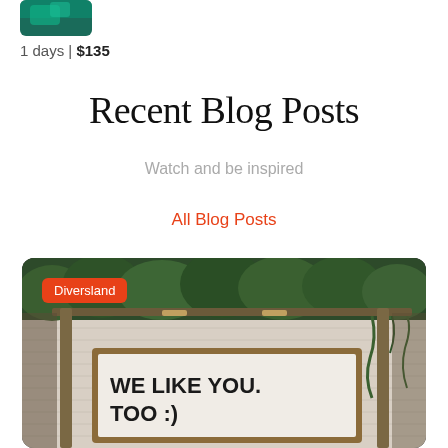[Figure (photo): Partial thumbnail image with green/teal color, cropped at top]
1 days | $135
Recent Blog Posts
Watch and be inspired
All Blog Posts
[Figure (photo): Photo of a building covered with green ivy/vines with a wooden-framed billboard sign reading WE LIKE YOU. TOO :) with an orange Diversland category badge overlaid]
Diversland